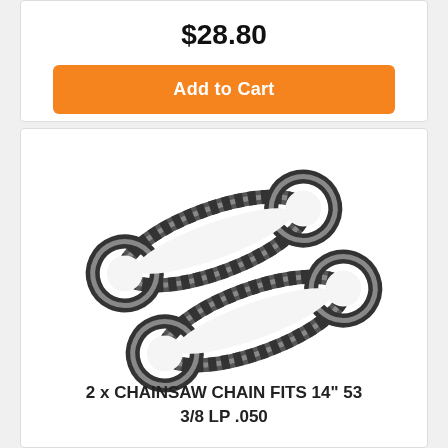$28.80
Add to Cart
[Figure (photo): Two chainsaw chains side by side on a white background]
2 x CHAINSAW CHAIN FITS 14" 53 3/8 LP .050